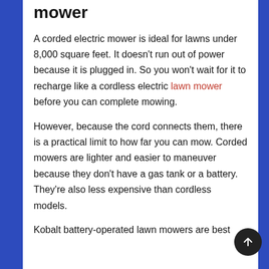mower
A corded electric mower is ideal for lawns under 8,000 square feet. It doesn't run out of power because it is plugged in. So you won't wait for it to recharge like a cordless electric lawn mower before you can complete mowing.
However, because the cord connects them, there is a practical limit to how far you can mow. Corded mowers are lighter and easier to maneuver because they don't have a gas tank or a battery. They're also less expensive than cordless models.
Kobalt battery-operated lawn mowers are best for medium-sized lawns, and can cut more...